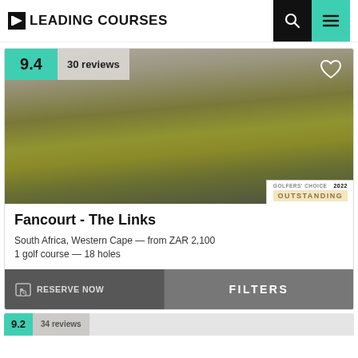LEADING COURSES
[Figure (photo): Blurred aerial photo of a golf course with yellow-green fairways and sandy/gray areas, showing Fancourt - The Links course in South Africa]
Fancourt - The Links
South Africa, Western Cape — from ZAR 2,100
1 golf course — 18 holes
GOLFERS' CHOICE 2022 OUTSTANDING
RESERVE NOW
FILTERS